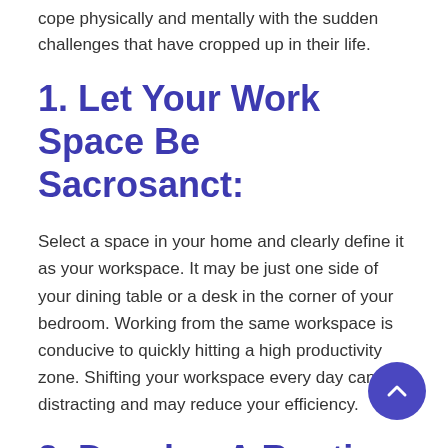cope physically and mentally with the sudden challenges that have cropped up in their life.
1. Let Your Work Space Be Sacrosanct:
Select a space in your home and clearly define it as your workspace. It may be just one side of your dining table or a desk in the corner of your bedroom. Working from the same workspace is conducive to quickly hitting a high productivity zone. Shifting your workspace every day can be distracting and may reduce your efficiency.
2. Develop A Routine & Stick To It:
Just because you are teaching at home does not